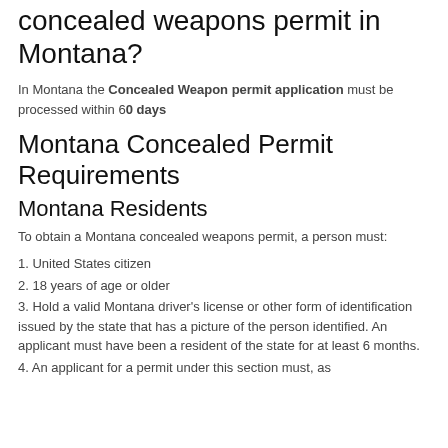How long does it take to get a concealed weapons permit in Montana?
In Montana the Concealed Weapon permit application must be processed within 60 days
Montana Concealed Permit Requirements
Montana Residents
To obtain a Montana concealed weapons permit, a person must:
1. United States citizen
2. 18 years of age or older
3. Hold a valid Montana driver's license or other form of identification issued by the state that has a picture of the person identified. An applicant must have been a resident of the state for at least 6 months.
4. An applicant for a permit under this section must, as